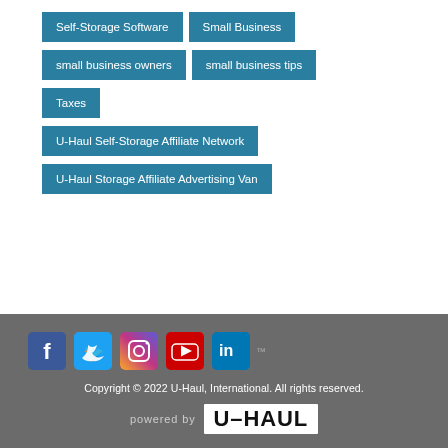Self-Storage Software
Small Business
small business owners
small business tips
Taxes
U-Haul Self-Storage Affiliate Network
U-Haul Storage Affiliate Advertising Van
[Figure (infographic): Social media icons: Facebook, Twitter, Instagram, YouTube, LinkedIn]
Copyright © 2022 U-Haul, International. All rights reserved.
powered by U-HAUL